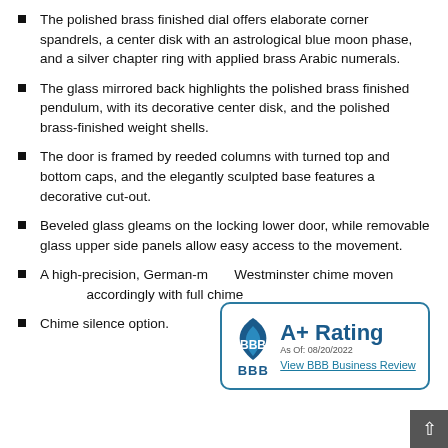The polished brass finished dial offers elaborate corner spandrels, a center disk with an astrological blue moon phase, and a silver chapter ring with applied brass Arabic numerals.
The glass mirrored back highlights the polished brass finished pendulum, with its decorative center disk, and the polished brass-finished weight shells.
The door is framed by reeded columns with turned top and bottom caps, and the elegantly sculpted base features a decorative cut-out.
Beveled glass gleams on the locking lower door, while removable glass upper side panels allow easy access to the movement.
A high-precision, German-m[ade] Westminster chime movement [chimes] accordingly with full chime [settings].
Chime silence option.
[Figure (logo): BBB A+ Rating badge. As Of: 08/20/2022. View BBB Business Review.]